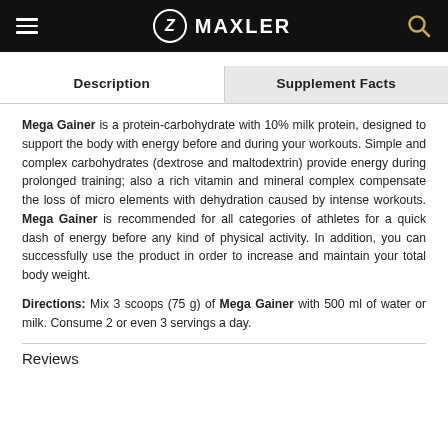MAXLER
Description | Supplement Facts
Mega Gainer is a protein-carbohydrate with 10% milk protein, designed to support the body with energy before and during your workouts. Simple and complex carbohydrates (dextrose and maltodextrin) provide energy during prolonged training; also a rich vitamin and mineral complex compensate the loss of micro elements with dehydration caused by intense workouts. Mega Gainer is recommended for all categories of athletes for a quick dash of energy before any kind of physical activity. In addition, you can successfully use the product in order to increase and maintain your total body weight.
Directions: Mix 3 scoops (75 g) of Mega Gainer with 500 ml of water or milk. Consume 2 or even 3 servings a day.
Reviews